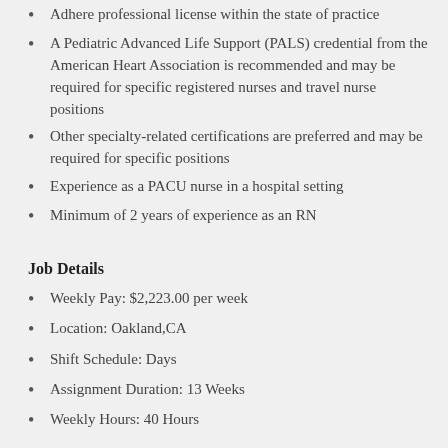Adhere professional license within the state of practice
A Pediatric Advanced Life Support (PALS) credential from the American Heart Association is recommended and may be required for specific registered nurses and travel nurse positions
Other specialty-related certifications are preferred and may be required for specific positions
Experience as a PACU nurse in a hospital setting
Minimum of 2 years of experience as an RN
Job Details
Weekly Pay: $2,223.00 per week
Location: Oakland,CA
Shift Schedule: Days
Assignment Duration: 13 Weeks
Weekly Hours: 40 Hours